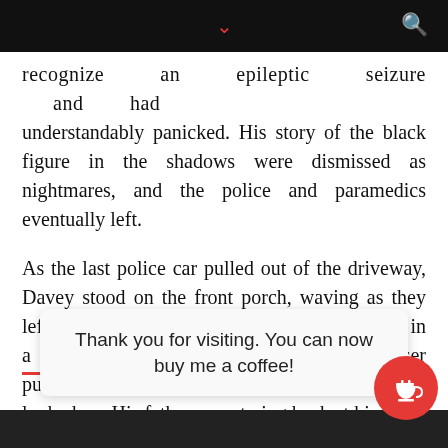recognize an epileptic seizure and had understandably panicked. His story of the black figure in the shadows were dismissed as nightmares, and the police and paramedics eventually left.
As the last police car pulled out of the driveway, Davey stood on the front porch, waving as they left. His father was gripping the boy’s shoulder in a tight, yet comfortable, hold. As the cruiser pulled away, Davey turned to his father and looked up. His father was staring back at him with pure black orbs for eyes.
“Now, Da… d.”
Thank you for visiting. You can now buy me a coffee!